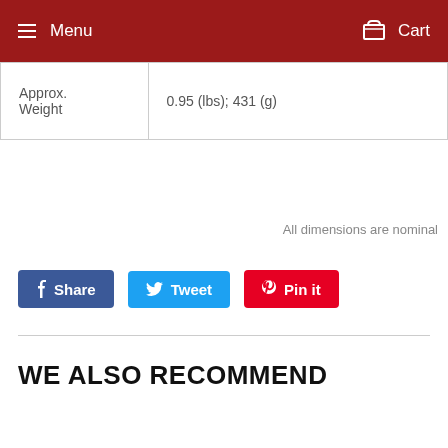Menu  Cart
| Approx. Weight | 0.95 (lbs); 431 (g) |
All dimensions are nominal
Share  Tweet  Pin it
WE ALSO RECOMMEND